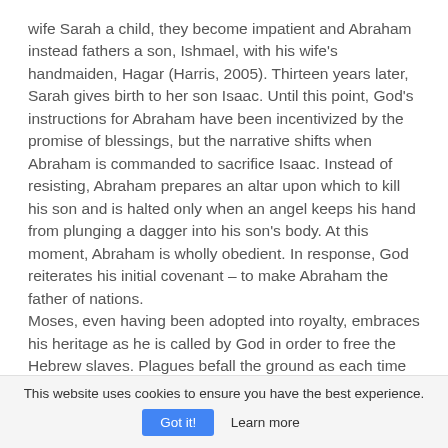wife Sarah a child, they become impatient and Abraham instead fathers a son, Ishmael, with his wife's handmaiden, Hagar (Harris, 2005). Thirteen years later, Sarah gives birth to her son Isaac. Until this point, God's instructions for Abraham have been incentivized by the promise of blessings, but the narrative shifts when Abraham is commanded to sacrifice Isaac. Instead of resisting, Abraham prepares an altar upon which to kill his son and is halted only when an angel keeps his hand from plunging a dagger into his son's body. At this moment, Abraham is wholly obedient. In response, God reiterates his initial covenant – to make Abraham the father of nations.
Moses, even having been adopted into royalty, embraces his heritage as he is called by God in order to free the Hebrew slaves. Plagues befall the ground as each time Moses requests the Hebrews be freed, the
This website uses cookies to ensure you have the best experience.
Got it!   Learn more